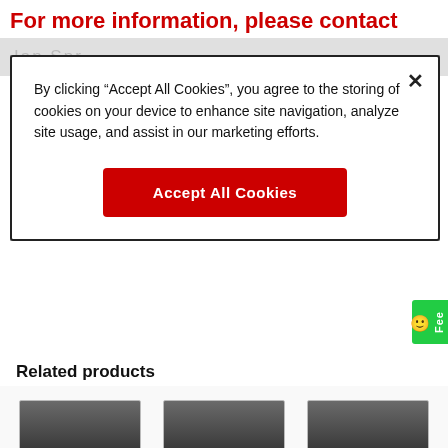For more information, please contact
By clicking “Accept All Cookies”, you agree to the storing of cookies on your device to enhance site navigation, analyze site usage, and assist in our marketing efforts.
Accept All Cookies
Related products
[Figure (photo): TruePix TP0.9 product image - dark rectangular screen]
TruePix TP0.9
Download images »
[Figure (photo): TruePix TP0.9-Q product image - dark rectangular screen]
TruePix TP0.9-Q
Download images »
[Figure (photo): TruePix TP1.2 product image - dark rectangular screen]
TruePix TP1.2
Download images »